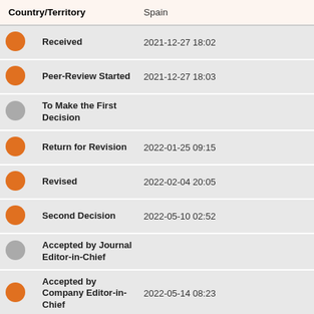|  | Country/Territory | Spain |
| --- | --- | --- |
| orange | Received | 2021-12-27 18:02 |
| orange | Peer-Review Started | 2021-12-27 18:03 |
| gray | To Make the First Decision |  |
| orange | Return for Revision | 2022-01-25 09:15 |
| orange | Revised | 2022-02-04 20:05 |
| orange | Second Decision | 2022-05-10 02:52 |
| gray | Accepted by Journal Editor-in-Chief |  |
| orange | Accepted by Company Editor-in-Chief | 2022-05-14 08:23 |